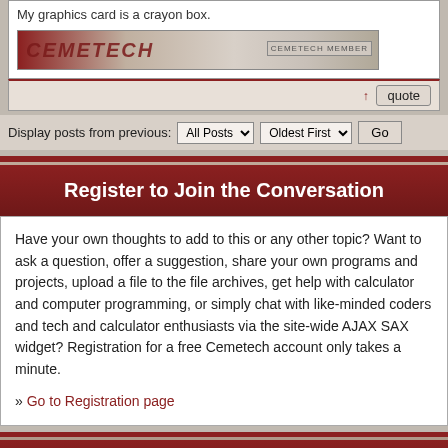My graphics card is a crayon box.
[Figure (illustration): Cemetech banner image with 'CEMETECH' logo text and 'CEMETECH MEMBER' badge on the right]
↑ quote
Display posts from previous: All Posts ▼  Oldest First ▼  Go
Register to Join the Conversation
Have your own thoughts to add to this or any other topic? Want to ask a question, offer a suggestion, share your own programs and projects, upload a file to the file archives, get help with calculator and computer programming, or simply chat with like-minded coders and tech and calculator enthusiasts via the site-wide AJAX SAX widget? Registration for a free Cemetech account only takes a minute.
» Go to Registration page
SMS Analyzer
■ reply to topic
» Goto page 1, 2  Next
» View previous topic :: View next topic
Page 1 of 2
» All times are UTC - 5 Hours